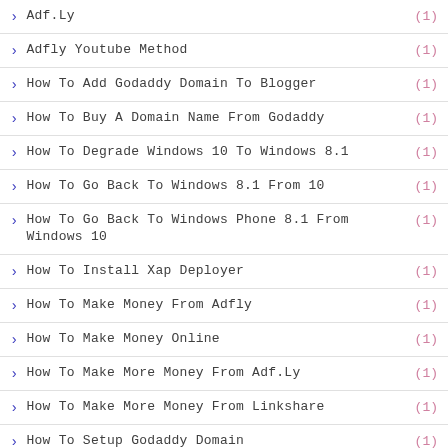Adf.Ly (1)
Adfly Youtube Method (1)
How To Add Godaddy Domain To Blogger (1)
How To Buy A Domain Name From Godaddy (1)
How To Degrade Windows 10 To Windows 8.1 (1)
How To Go Back To Windows 8.1 From 10 (1)
How To Go Back To Windows Phone 8.1 From Windows 10 (1)
How To Install Xap Deployer (1)
How To Make Money From Adfly (1)
How To Make Money Online (1)
How To Make More Money From Adf.Ly (1)
How To Make More Money From Linkshare (1)
How To Setup Godaddy Domain (1)